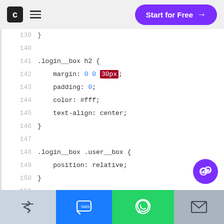[Figure (screenshot): Navigation bar with logo, hamburger menu, and 'Start for Free' purple button]
139  }
140
141  .login__box h2 {
142    margin: 0 0 30px;
143    padding: 0;
144    color: #fff;
145    text-align: center;
146  }
147
148  .login__box .user__box {
149    position: relative;
150  }
151
152  .login__box .user__box input {
153    width: 100%;
[Figure (screenshot): Bottom toolbar with share, SMS, WhatsApp, and email icons]